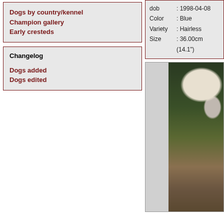Dogs by country/kennel
Champion gallery
Early cresteds
Changelog
Dogs added
Dogs edited
dob : 1998-04-08
Color : Blue
Variety : Hairless
Size : 36.00cm (14.1")
[Figure (photo): Photograph of a Chinese Crested dog outdoors in a garden setting with green foliage and ground cover visible]